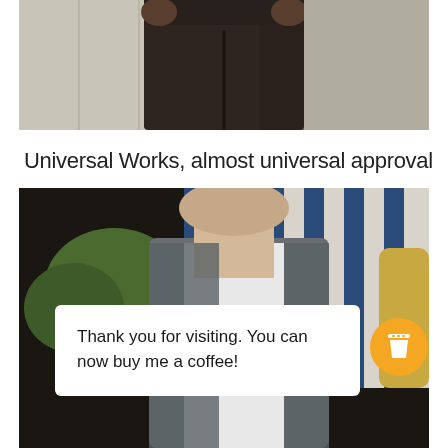[Figure (photo): Cropped photo showing lower torso and legs of a person wearing dark brown/charcoal trousers, standing against a white paneled wall background.]
Universal Works, almost universal approval
[Figure (photo): Photo of a person wearing a grey vest/waistcoat over a white collarless shirt, standing outdoors with a striped blue and white awning or chair behind them. Overlaid with a white speech bubble box reading 'Thank you for visiting. You can now buy me a coffee!' and an orange circular coffee cup button.]
Thank you for visiting. You can now buy me a coffee!